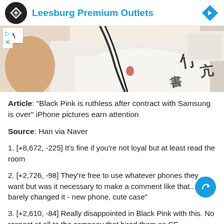Leesburg Premium Outlets
[Figure (photo): Photo of a person wearing white shorts and a white top with black graphic text, holding a phone with a black lanyard, sitting on a beige/cream surface]
Article: "Black Pink is ruthless after contract with Samsung is over" iPhone pictures earn attention
Source: Han via Naver
1. [+8,672, -225] It's fine if you're not loyal but at least read the room
2. [+2,726, -98] They're free to use whatever phones they want but was it necessary to make a comment like that.. "Just barely changed it - new phone, cute case"
3. [+2,610, -84] Really disappointed in Black Pink with this. No respect at all to the company that hired them as CF